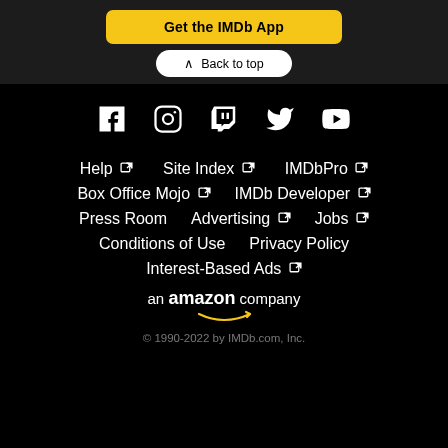Get the IMDb App
Back to top
[Figure (illustration): Social media icons row: Facebook, Instagram, Twitch, Twitter, YouTube — white icons on black background]
Help ↗
Site Index ↗
IMDbPro ↗
Box Office Mojo ↗
IMDb Developer ↗
Press Room
Advertising ↗
Jobs ↗
Conditions of Use
Privacy Policy
Interest-Based Ads ↗
an amazon company
© 1990-2022 by IMDb.com, Inc.